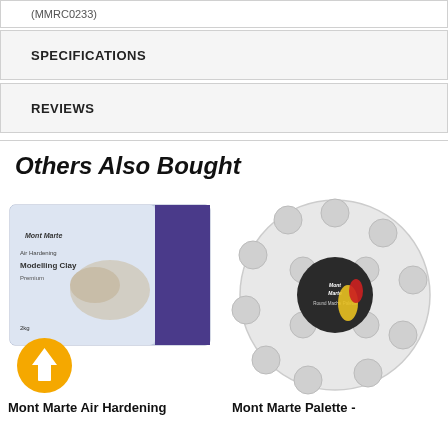(MMRC0233)
SPECIFICATIONS
REVIEWS
Others Also Bought
[Figure (photo): Mont Marte Air Hardening Modelling Clay Premium 2kg product box with purple and white packaging showing clay sculpture]
Mont Marte Air Hardening
[Figure (photo): Mont Marte Round Plastic Palette - white circular palette with round wells, showing the product label in the center]
Mont Marte Palette -